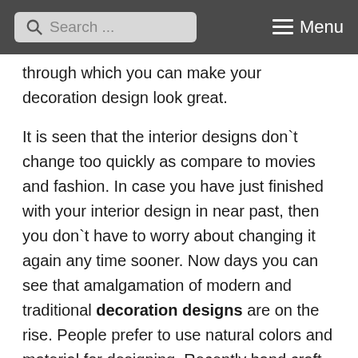Search ... Menu
through which you can make your decoration design look great.
It is seen that the interior designs don`t change too quickly as compare to movies and fashion. In case you have just finished with your interior design in near past, then you don`t have to worry about changing it again any time sooner. Now days you can see that amalgamation of modern and traditional decoration designs are on the rise. People prefer to use natural colors and material for designing. Recently hand craft are also seen to make a comeback in interior decorations. Modern geometry and colorful textures with see through material or